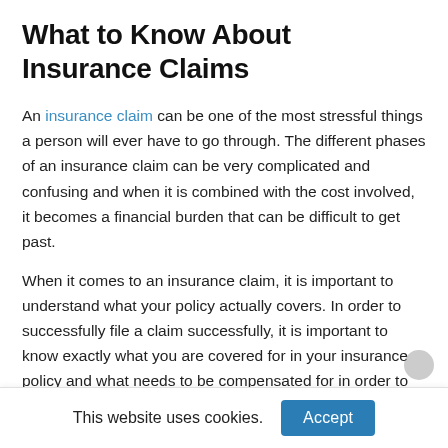What to Know About Insurance Claims
An insurance claim can be one of the most stressful things a person will ever have to go through. The different phases of an insurance claim can be very complicated and confusing and when it is combined with the cost involved, it becomes a financial burden that can be difficult to get past.
When it comes to an insurance claim, it is important to understand what your policy actually covers. In order to successfully file a claim successfully, it is important to know exactly what you are covered for in your insurance policy and what needs to be compensated for in order to move forward with a claim.
This website uses cookies.